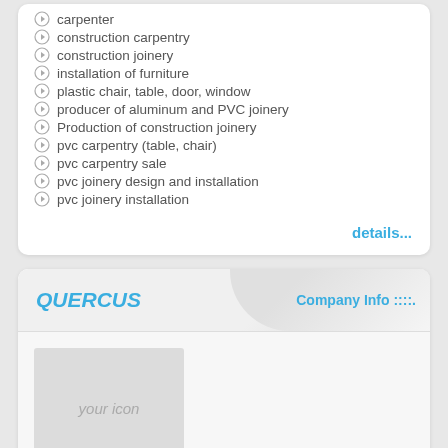carpenter
construction carpentry
construction joinery
installation of furniture
plastic chair, table, door, window
producer of aluminum and PVC joinery
Production of construction joinery
pvc carpentry (table, chair)
pvc carpentry sale
pvc joinery design and installation
pvc joinery installation
details...
QUERCUS
Company Info :::::.
[Figure (other): Placeholder icon box with text 'your icon']